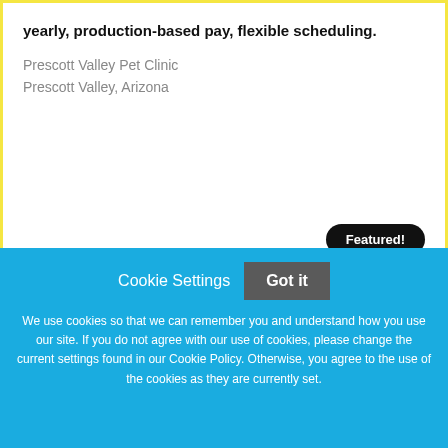yearly, production-based pay, flexible scheduling.
Prescott Valley Pet Clinic
Prescott Valley, Arizona
Featured!
Practice Administrator
Confidential
Roswell, Georgia
Cookie Settings
Got it
We use cookies so that we can remember you and understand how you use our site. If you do not agree with our use of cookies, please change the current settings found in our Cookie Policy. Otherwise, you agree to the use of the cookies as they are currently set.